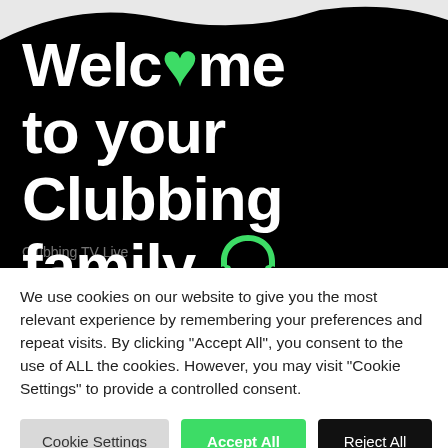[Figure (screenshot): Black hero banner with large white bold text reading 'Welcome to your Clubbing family' with a green heart replacing the 'o' in Welcome and a green headphones emoji at the end. A faint watermark 'Clubbing TV Live' appears at the bottom left.]
We use cookies on our website to give you the most relevant experience by remembering your preferences and repeat visits. By clicking "Accept All", you consent to the use of ALL the cookies. However, you may visit "Cookie Settings" to provide a controlled consent.
Cookie Settings | Accept All | Reject All